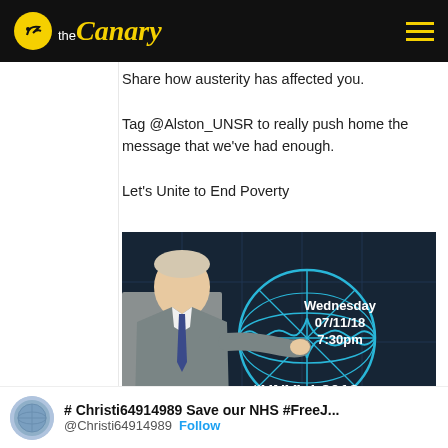theCanary
Share how austerity has affected you.

Tag @Alston_UNSR to really push home the message that we've had enough.

Let's Unite to End Poverty
[Figure (photo): Image showing a man in a suit pointing, with the UN logo in blue on a dark background. Text reads: Wednesday 07/11/18 7:30pm, #UNVisit2018 TWITTERSTORM]
# Christi64914989 Save our NHS #FreeJ...
@Christi64914989  Follow